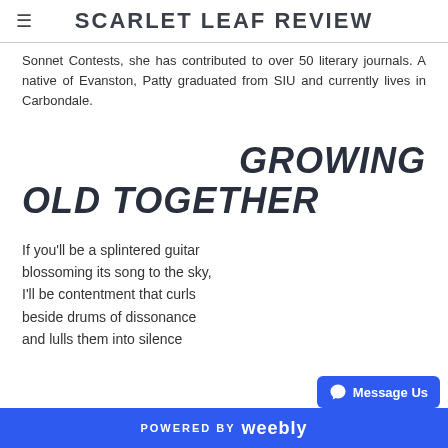SCARLET LEAF REVIEW
Sonnet Contests, she has contributed to over 50 literary journals. A native of Evanston, Patty graduated from SIU and currently lives in Carbondale.
GROWING OLD TOGETHER
If you'll be a splintered guitar blossoming its song to the sky, I'll be contentment that curls beside drums of dissonance and lulls them into silence
POWERED BY weebly